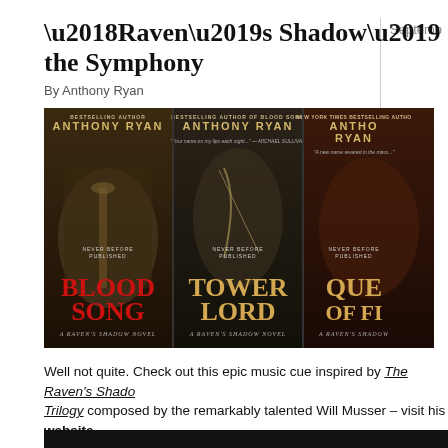‘Raven’s Shadow’ the Symphony
By Anthony Ryan
[Figure (photo): Three book covers for the Raven's Shadow series by Anthony Ryan: Blood Song, Tower Lord, and Queen of Fire (partially visible). Dark fantasy covers with armored figures holding weapons, gold lettering for author name, red/gold lettering for book titles.]
Well not quite. Check out this epic music cue inspired by The Raven’s Shadow Trilogy composed by the remarkably talented Will Musser – visit his website epic movie and TV soundtracks.